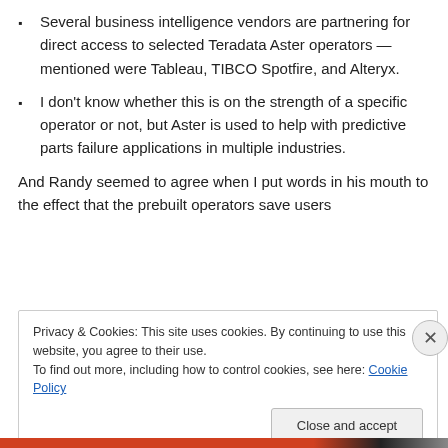Several business intelligence vendors are partnering for direct access to selected Teradata Aster operators — mentioned were Tableau, TIBCO Spotfire, and Alteryx.
I don't know whether this is on the strength of a specific operator or not, but Aster is used to help with predictive parts failure applications in multiple industries.
And Randy seemed to agree when I put words in his mouth to the effect that the prebuilt operators save users
Privacy & Cookies: This site uses cookies. By continuing to use this website, you agree to their use.
To find out more, including how to control cookies, see here: Cookie Policy